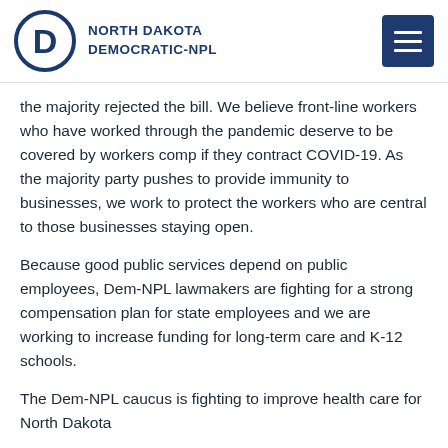[Figure (logo): North Dakota Democratic-NPL logo with circle D emblem and organization name, plus hamburger menu button]
the majority rejected the bill. We believe front-line workers who have worked through the pandemic deserve to be covered by workers comp if they contract COVID-19. As the majority party pushes to provide immunity to businesses, we work to protect the workers who are central to those businesses staying open.
Because good public services depend on public employees, Dem-NPL lawmakers are fighting for a strong compensation plan for state employees and we are working to increase funding for long-term care and K-12 schools.
The Dem-NPL caucus is fighting to improve health care for North Dakota...